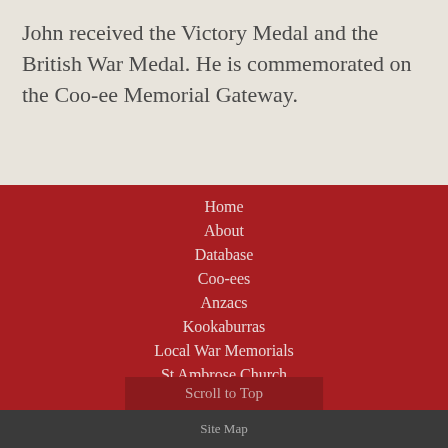John received the Victory Medal and the British War Medal. He is commemorated on the Coo-ee Memorial Gateway.
Home
About
Database
Coo-ees
Anzacs
Kookaburras
Local War Memorials
St Ambrose Church
Local Honor Boards
Scroll to Top
Site Map